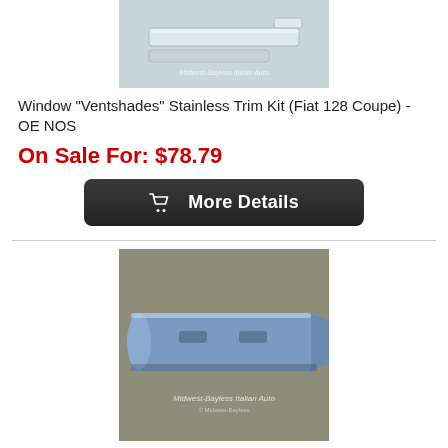[Figure (photo): Cropped product photo of Window Ventshades Stainless Trim Kit for Fiat 128 Coupe with Midwest-Bayless Italian Auto watermark]
Window "Ventshades" Stainless Trim Kit (Fiat 128 Coupe) - OE NOS
On Sale For: $78.79
[Figure (other): More Details button with shopping cart icon]
[Figure (photo): Product photo of blue Air Dam Fiberglass for Fiat 128 Sedan with Midwest-Bayless Italian Auto watermark]
Air Dam Fiberglass (Fiat 128 Sedan) - NEW
Our Price: $198.79